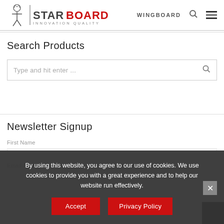[Figure (logo): Starboard Innovation Quality logo with a figure/mascot icon on the left and stylized text STARBOARD in dark/red and INNOVATION QUALITY below]
WINGBOARD
Search Products
Type and hit enter ...
Newsletter Signup
Email Address
By using this website, you agree to our use of cookies. We use cookies to provide you with a great experience and to help our website run effectively.
Accept
Privacy Policy